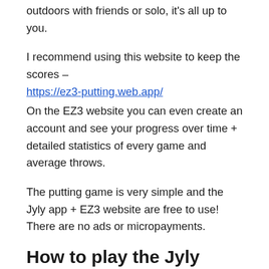outdoors with friends or solo, it's all up to you.
I recommend using this website to keep the scores – https://ez3-putting.web.app/
On the EZ3 website you can even create an account and see your progress over time + detailed statistics of every game and average throws.
The putting game is very simple and the Jyly app + EZ3 website are free to use! There are no ads or micropayments.
How to play the Jyly putting game?
Click here to see how to play Jyly putting game – https://discgolffanatic.com/jyly-disc-golf-putting-game/